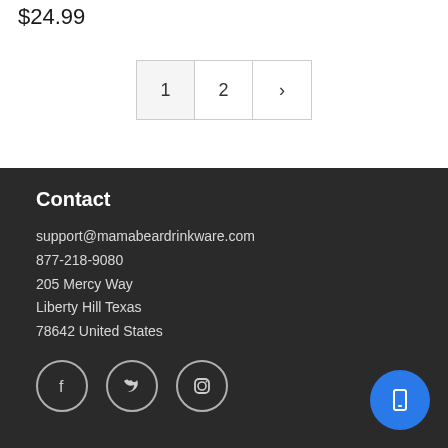$24.99
1  2  >
Contact
support@mamabeardrinkware.com
877-218-9080
205 Mercy Way
Liberty Hill Texas
78642 United States
[Figure (infographic): Social media icons: Facebook, Twitter, Instagram circles with white outlines on dark background. A blue circle button on the right with a mobile/tablet icon.]